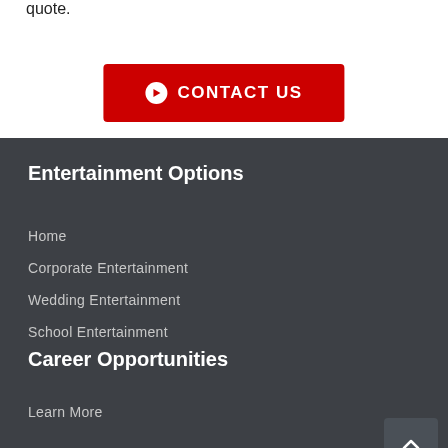quote.
CONTACT US
Entertainment Options
Home
Corporate Entertainment
Wedding Entertainment
School Entertainment
Career Opportunities
Learn More
AMS Indianapolis